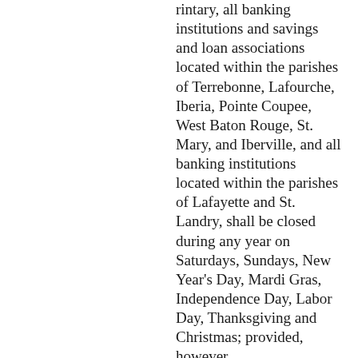rintary, all banking institutions and savings and loan associations located within the parishes of Terrebonne, Lafourche, Iberia, Pointe Coupee, West Baton Rouge, St. Mary, and Iberville, and all banking institutions located within the parishes of Lafayette and St. Landry, shall be closed during any year on Saturdays, Sundays, New Year's Day, Mardi Gras, Independence Day, Labor Day, Thanksgiving and Christmas; provided, however